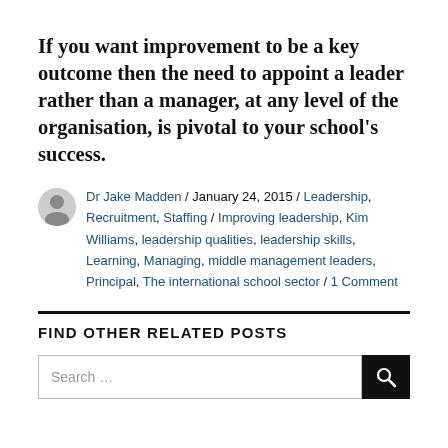If you want improvement to be a key outcome then the need to appoint a leader rather than a manager, at any level of the organisation, is pivotal to your school's success.
Dr Jake Madden / January 24, 2015 / Leadership, Recruitment, Staffing / Improving leadership, Kim Williams, leadership qualities, leadership skills, Learning, Managing, middle management leaders, Principal, The international school sector / 1 Comment
FIND OTHER RELATED POSTS